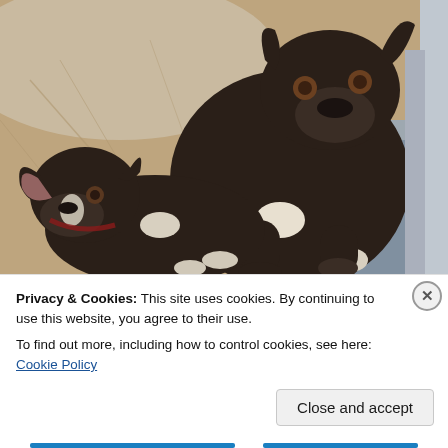[Figure (photo): Two dark brown/black pit bull type dogs lying and sitting on a bed or couch. The larger dog is sitting upright looking at the camera, the smaller dog is lying down beneath it. Both have white markings on their chest.]
Privacy & Cookies: This site uses cookies. By continuing to use this website, you agree to their use.
To find out more, including how to control cookies, see here: Cookie Policy
Close and accept